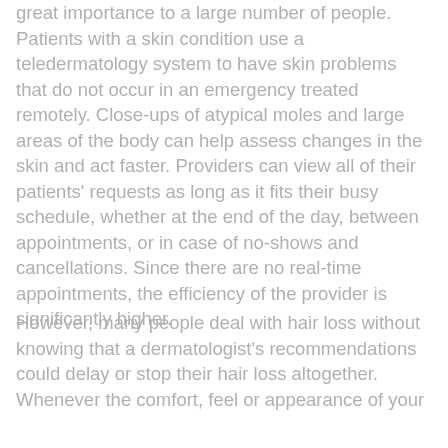great importance to a large number of people. Patients with a skin condition use a teledermatology system to have skin problems that do not occur in an emergency treated remotely. Close-ups of atypical moles and large areas of the body can help assess changes in the skin and act faster. Providers can view all of their patients' requests as long as it fits their busy schedule, whether at the end of the day, between appointments, or in case of no-shows and cancellations. Since there are no real-time appointments, the efficiency of the provider is significantly higher.
However, many people deal with hair loss without knowing that a dermatologist's recommendations could delay or stop their hair loss altogether. Whenever the comfort, feel or appearance of your